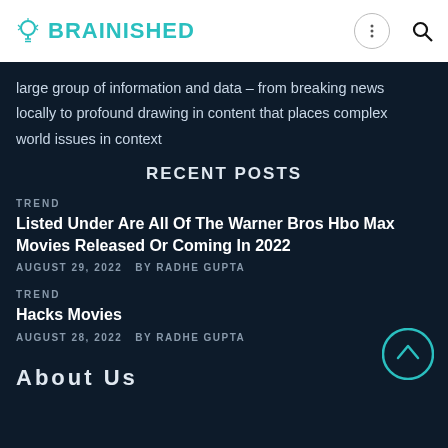BRAINISHED
large group of information and data – from breaking news locally to profound drawing in content that places complex world issues in context
RECENT POSTS
TREND
Listed Under Are All Of The Warner Bros Hbo Max Movies Released Or Coming In 2022
AUGUST 29, 2022  BY RADHE GUPTA
TREND
Hacks Movies
AUGUST 28, 2022  BY RADHE GUPTA
About Us